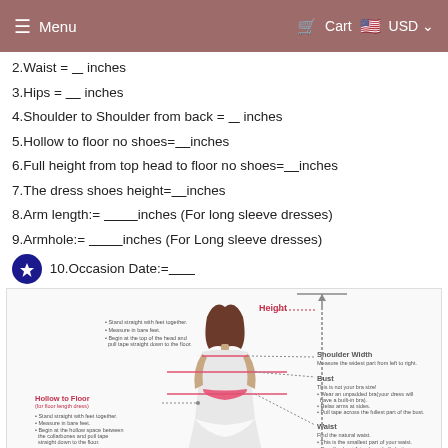Menu   Cart   USD
2.Waist = ___ inches
3.Hips = ____ inches
4.Shoulder to Shoulder from back = ___ inches
5.Hollow to floor no shoes=____inches
6.Full height from top head to floor no shoes=____inches
7.The dress shoes height=____inches
8.Arm length:= __________inches (For long sleeve dresses)
9.Armhole:= __________inches (For Long sleeve dresses)
10.Occasion Date:=_______
[Figure (illustration): Measurement diagram of a woman in a white dress showing Height, Shoulder Width, Bust, Hollow to Floor, and Waist measurement instructions with dotted lines and arrows.]